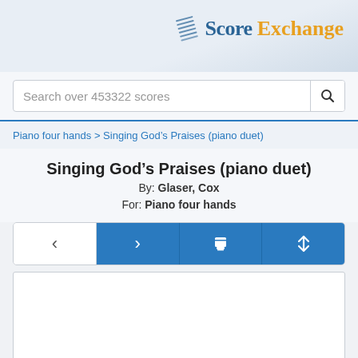[Figure (logo): Score Exchange logo with musical score icon, 'Score' in blue serif font and 'Exchange' in orange serif font]
Search over 453322 scores
Piano four hands > Singing God's Praises (piano duet)
Singing God’s Praises (piano duet)
By: Glaser, Cox
For: Piano four hands
[Figure (screenshot): Navigation button bar with four buttons: back arrow (white), forward arrow (blue), print icon (blue), resize/fullscreen icon (blue)]
[Figure (screenshot): White blank preview area for sheet music score]